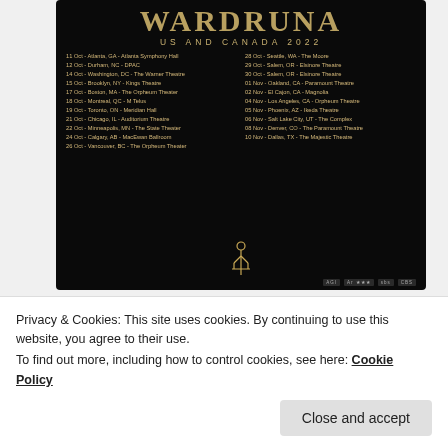[Figure (illustration): Concert tour poster on black background for a band (WARDRUNA or similar) listing US and Canada 2022 tour dates in two columns, with a stylized icon and sponsor logos at bottom.]
DONATE TO US ON KO-FI
[Figure (screenshot): Dark banner image with stylized white text reading ghostcultmag or similar logo/branding.]
Privacy & Cookies: This site uses cookies. By continuing to use this website, you agree to their use.
To find out more, including how to control cookies, see here: Cookie Policy